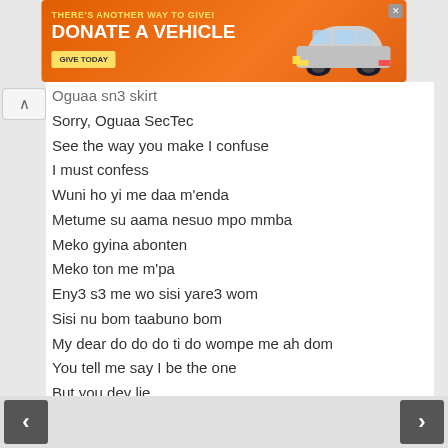[Figure (other): Orange advertisement banner: THERE'S ANOTHER WAY TO GIVE! DONATE A VEHICLE GIVE TODAY with car image]
Oguaa sn3 skirt
Sorry, Oguaa SecTec
See the way you make I confuse
I must confess
Wuni ho yi me daa m'enda
Metume su aama nesuo mpo mmba
Meko gyina abonten
Meko ton me m'pa
Eny3 s3 me wo sisi yare3 wom
Sisi nu bom taabuno bom
My dear do do do ti do wompe me ah dom
You tell me say I be the one
But you dey lie
Wodɔ nu ye scam
You tell me say I be the only one
But you dey lie